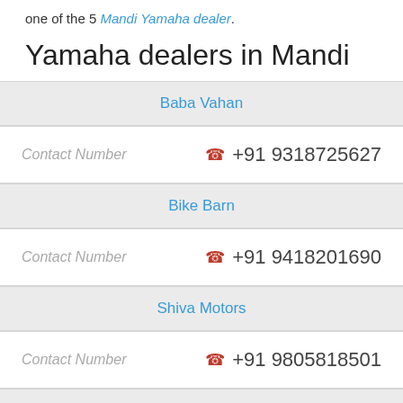one of the 5 Mandi Yamaha dealer.
Yamaha dealers in Mandi
Baba Vahan
| Contact Number |  |
| --- | --- |
| Contact Number | +91 9318725627 |
Bike Barn
| Contact Number |  |
| --- | --- |
| Contact Number | +91 9418201690 |
Shiva Motors
| Contact Number |  |
| --- | --- |
| Contact Number | +91 9805818501 |
Nirmal Motors